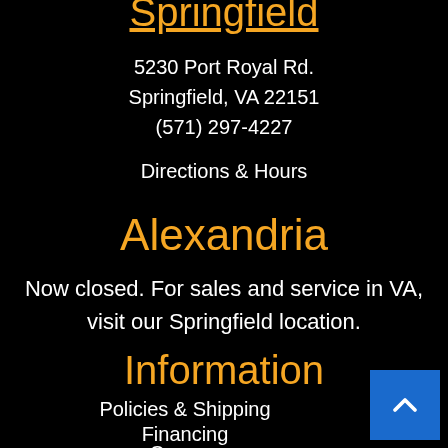Springfield
5230 Port Royal Rd.
Springfield, VA 22151
(571) 297-4227
Directions & Hours
Alexandria
Now closed. For sales and service in VA, visit our Springfield location.
Information
Policies & Shipping
Financing
Careers